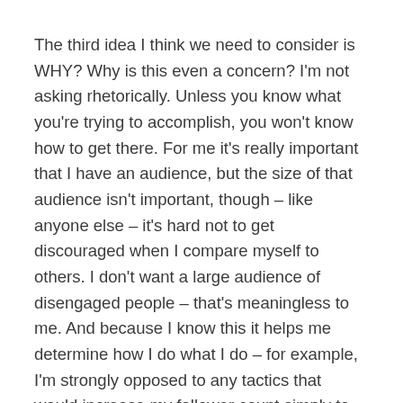The third idea I think we need to consider is WHY? Why is this even a concern? I'm not asking rhetorically. Unless you know what you're trying to accomplish, you won't know how to get there. For me it's really important that I have an audience, but the size of that audience isn't important, though – like anyone else – it's hard not to get discouraged when I compare myself to others. I don't want a large audience of disengaged people – that's meaningless to me. And because I know this it helps me determine how I do what I do – for example, I'm strongly opposed to any tactics that would increase my follower count simply to grow the numbers. I could buy my way to a million followers. Most of that content ends up in that...